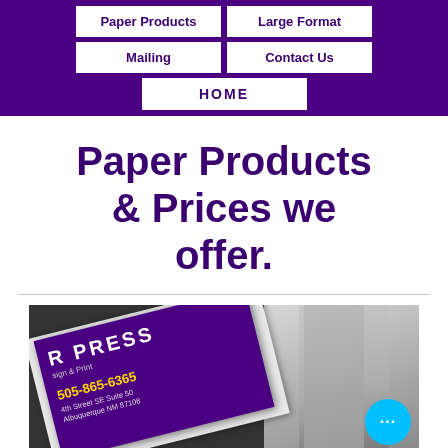Paper Products | Large Format | Mailing | Contact Us | HOME
Paper Products & Prices we offer.
[Figure (photo): Photo of printed business cards stacked with a purple business card for a design and print shop visible, showing phone number 505-865-6365 and address on 4th Street SE Suite 50, Albuquerque NM 87108]